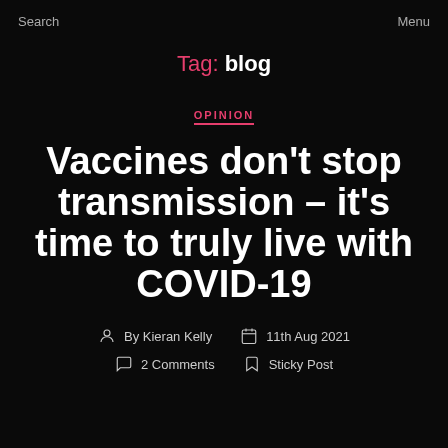Search   Menu
Tag: blog
OPINION
Vaccines don't stop transmission – it's time to truly live with COVID-19
By Kieran Kelly   11th Aug 2021   2 Comments   Sticky Post